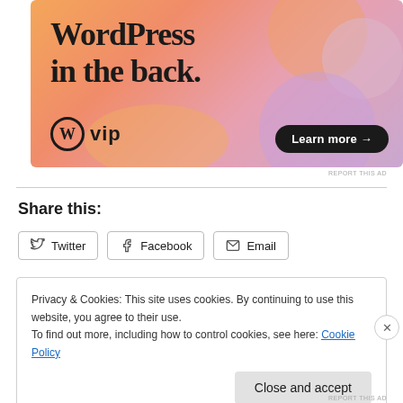[Figure (illustration): WordPress VIP advertisement banner with colorful abstract bubble shapes on an orange-pink gradient background. Large text reads 'WordPress in the back.' with WordPress VIP logo and a 'Learn more →' button.]
REPORT THIS AD
Share this:
Twitter
Facebook
Email
Privacy & Cookies: This site uses cookies. By continuing to use this website, you agree to their use.
To find out more, including how to control cookies, see here: Cookie Policy
Close and accept